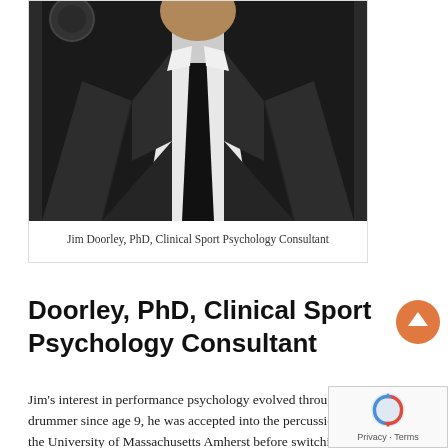[Figure (photo): Man in dark suit with white shirt and black tie, photographed from chest up against dark background]
Jim Doorley, PhD, Clinical Sport Psychology Consultant
Doorley, PhD, Clinical Sport Psychology Consultant
Jim's interest in performance psychology evolved through music. A drummer since age 9, he was accepted into the percussion program at the University of Massachusetts Amherst before switching his academic focus to psychology